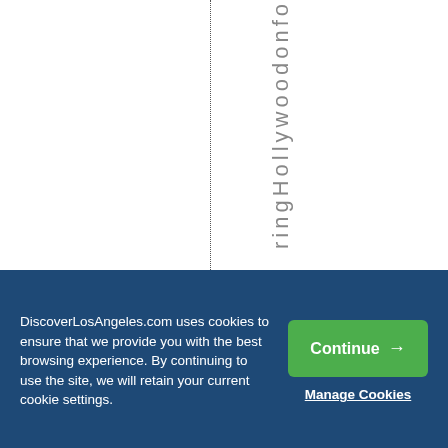ringHollywoodonfo
DiscoverLosAngeles.com uses cookies to ensure that we provide you with the best browsing experience. By continuing to use the site, we will retain your current cookie settings.
Continue →
Manage Cookies